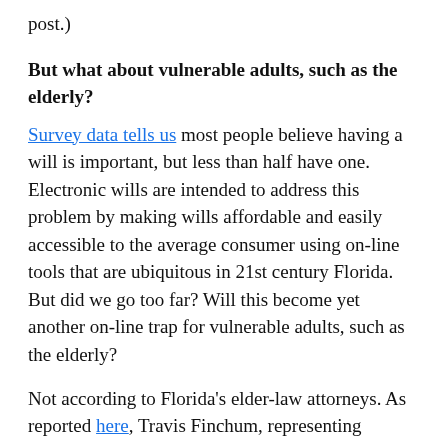post.)
But what about vulnerable adults, such as the elderly?
Survey data tells us most people believe having a will is important, but less than half have one. Electronic wills are intended to address this problem by making wills affordable and easily accessible to the average consumer using on-line tools that are ubiquitous in 21st century Florida. But did we go too far? Will this become yet another on-line trap for vulnerable adults, such as the elderly?
Not according to Florida's elder-law attorneys. As reported here, Travis Finchum, representing